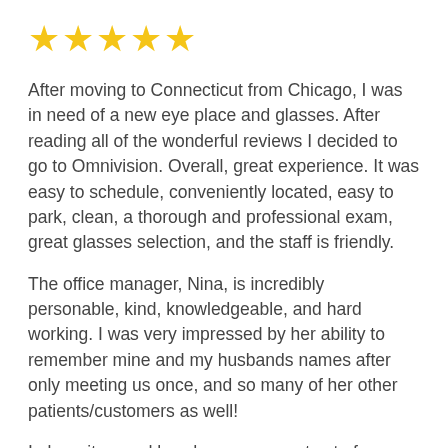[Figure (other): Five yellow star rating icons]
After moving to Connecticut from Chicago, I was in need of a new eye place and glasses. After reading all of the wonderful reviews I decided to go to Omnivision. Overall, great experience. It was easy to schedule, conveniently located, easy to park, clean, a thorough and professional exam, great glasses selection, and the staff is friendly.
The office manager, Nina, is incredibly personable, kind, knowledgeable, and hard working. I was very impressed by her ability to remember mine and my husbands names after only meeting us once, and so many of her other patients/customers as well!
I also witnessed her do a very sweet act of kindness for a patient struggling with a personal issue. She multi tasks and works diligently creating a very efficient and trustworthy establishment. She is very keen on what type